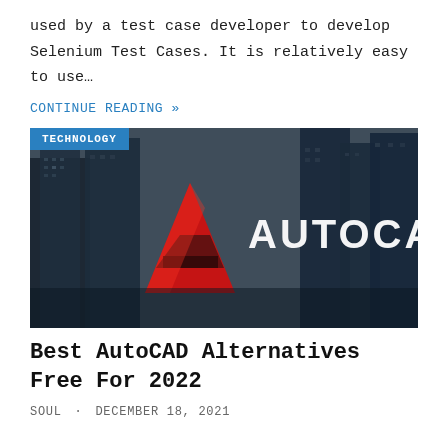used by a test case developer to develop Selenium Test Cases. It is relatively easy to use…
CONTINUE READING »
[Figure (photo): AutoCAD promotional banner image showing tall dark skyscrapers with the AutoCAD red 'A' logo and white 'AUTOCAD' text overlaid. Blue 'TECHNOLOGY' badge in top-left corner.]
Best AutoCAD Alternatives Free For 2022
SOUL · DECEMBER 18, 2021